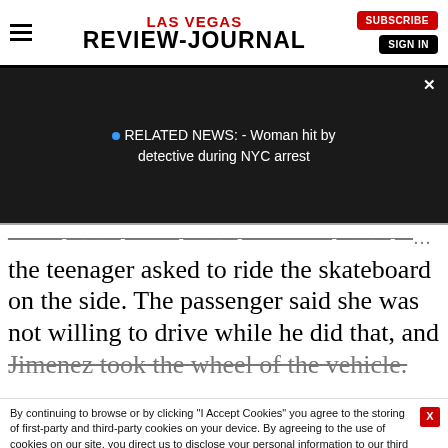LAS VEGAS REVIEW-JOURNAL
[Figure (screenshot): Dark video panel with related news overlay: 'RELATED NEWS: - Woman hit by detective during NYC arrest' with a blue dot indicator and X close button]
the teenager asked to ride the skateboard on the side. The passenger said she was not willing to drive while he did that, and Jimenez took the wheel of the vehicle.
By continuing to browse or by clicking "I Accept Cookies" you agree to the storing of first-party and third-party cookies on your device. By agreeing to the use of cookies on our site, you direct us to disclose your personal information to our third party service providers for the purposes for which we collect your information.
LOCAL NEWS YOUR WAY
Sign up for our free daily Morning and Afternoon Update newsletters
I Accept Cookies
EMAIL
SIGN UP